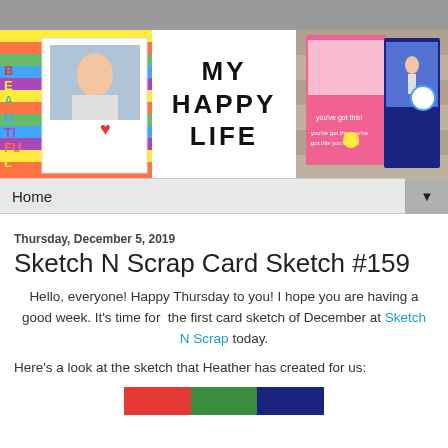[Figure (illustration): Blog header banner showing scrapbooking layouts on left and right with 'MY HAPPY LIFE' text in center]
Home ▼
Thursday, December 5, 2019
Sketch N Scrap Card Sketch #159
Hello, everyone! Happy Thursday to you! I hope you are having a good week. It's time for  the first card sketch of December at Sketch N Scrap today.
Here's a look at the sketch that Heather has created for us:
[Figure (illustration): Partial view of a card sketch with red, green and dark blue/teal color blocks at bottom of page]